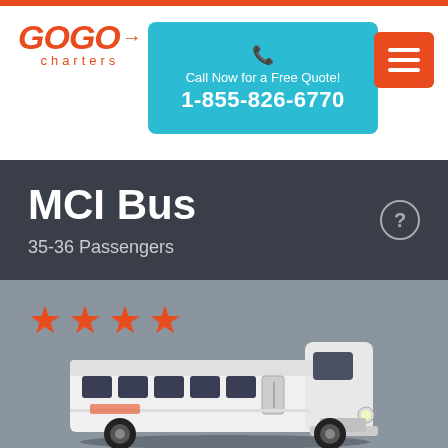[Figure (logo): GOGO Charters logo in red/orange with stylized text and arrow]
Call Now for a Free Quote!
1-855-826-6770
MCI Bus
35-36 Passengers
[Figure (illustration): Four orange/red star rating icons]
[Figure (photo): White MCI charter bus on gray background]